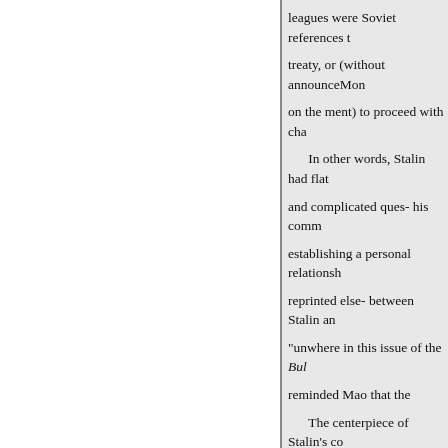leagues were Soviet references to treaty, or (without announceMon on the ment) to proceed with cha

In other words, Stalin had flat and complicated ques- his comm establishing a personal relationsh reprinted else- between Stalin an "unwhere in this issue of the Bull reminded Mao that the

The centerpiece of Stalin's co concluded between the tions with USSR and China as a result of th substance. At first, Stalin Agreem stage seems to have succeeded in wanted, but which was held up b Sakhalin, Port Arthur, Stalin's ce etc.). That is, the given treaty wa welcoming banquet cluded, so to seemed strongly interested in dev (possibly to be arranged oping a circle, by Moscow) and to back a not to modify any of the points p